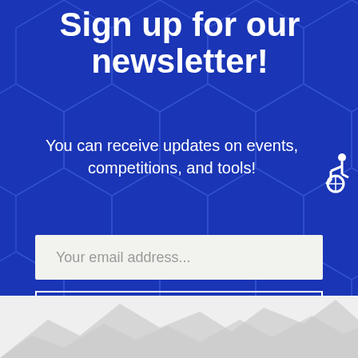Sign up for our newsletter!
You can receive updates on events, competitions, and tools!
[Figure (infographic): Email input field with placeholder text 'Your email address...' on blue hexagonal patterned background]
[Figure (infographic): SUBSCRIBE button with white border outline on blue background]
[Figure (illustration): Mountain silhouette graphic in light gray at the bottom of the page on white/light background]